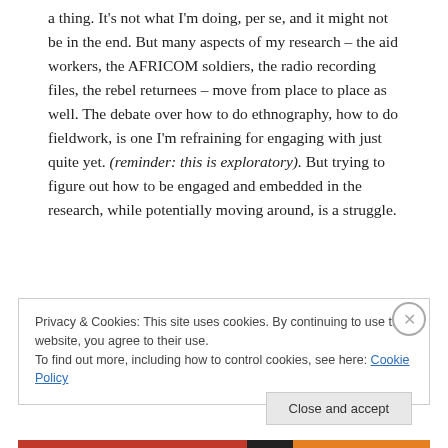a thing. It's not what I'm doing, per se, and it might not be in the end. But many aspects of my research – the aid workers, the AFRICOM soldiers, the radio recording files, the rebel returnees – move from place to place as well. The debate over how to do ethnography, how to do fieldwork, is one I'm refraining for engaging with just quite yet. (reminder: this is exploratory). But trying to figure out how to be engaged and embedded in the research, while potentially moving around, is a struggle.
Privacy & Cookies: This site uses cookies. By continuing to use this website, you agree to their use.
To find out more, including how to control cookies, see here: Cookie Policy